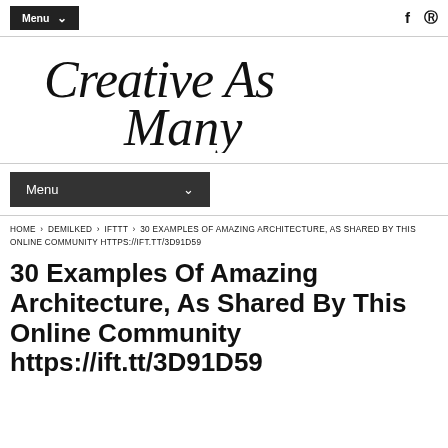Menu  f  ®
[Figure (logo): Handwritten script logo reading 'Creative As Many']
Menu
HOME > DEMILKED > IFTTT > 30 EXAMPLES OF AMAZING ARCHITECTURE, AS SHARED BY THIS ONLINE COMMUNITY HTTPS://IFT.TT/3D91D59
30 Examples Of Amazing Architecture, As Shared By This Online Community https://ift.tt/3D91D59